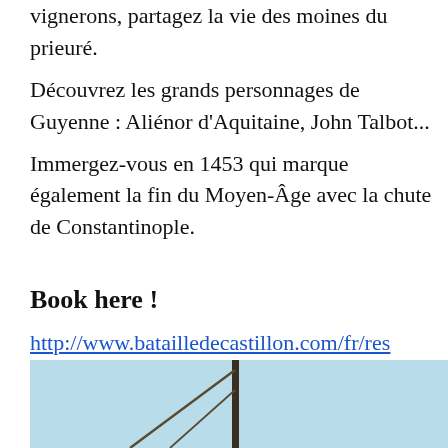Découvrez les coutumes des villageois et vignerons, partagez la vie des moines du prieuré.
Découvrez les grands personnages de Guyenne : Aliénor d'Aquitaine, John Talbot...
Immergez-vous en 1453 qui marque également la fin du Moyen-Âge avec la chute de Constantinople.
Book here !
http://www.batailledecastillon.com/fr/res
[Figure (photo): Partial view of a ship mast with rigging against a light blue sky, cut off at the bottom of the page.]